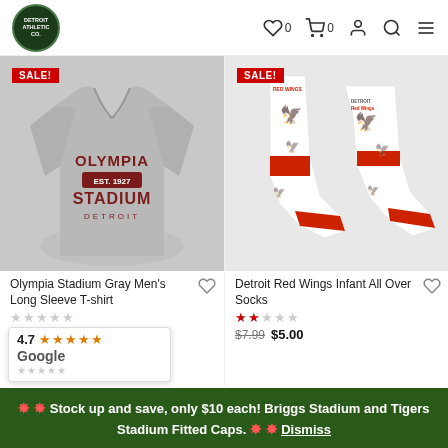Detroit Athletic Co. navigation header with logo, wishlist (0), cart (0), account, search, menu icons
[Figure (photo): Gray long-sleeve Olympia Stadium Detroit t-shirt with SALE! badge]
[Figure (photo): Detroit Red Wings Infant All Over Socks (white with red wings pattern) with SALE! badge]
Olympia Stadium Gray Men's Long Sleeve T-shirt
$21.99  $10.00
Detroit Red Wings Infant All Over Socks
$7.99  $5.00
Google widget: 4.7 rating, 5 stars
🌟 🌟 Stock up and save, only $10 each! Briggs Stadium and Tigers Stadium Fitted Caps. 🌟 🌟 Dismiss